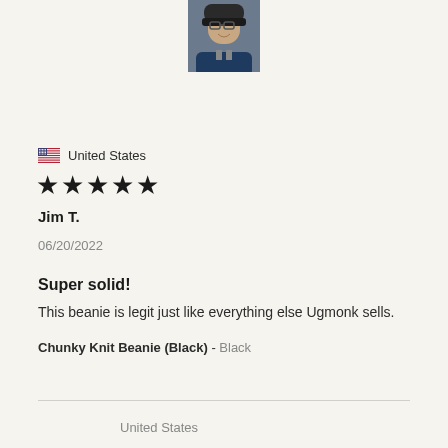[Figure (photo): Profile photo of a man wearing glasses and a dark beanie hat, outdoors]
🇺🇸 United States
★★★★★
Jim T.
06/20/2022
Super solid!
This beanie is legit just like everything else Ugmonk sells.
Chunky Knit Beanie (Black) - Black
United States